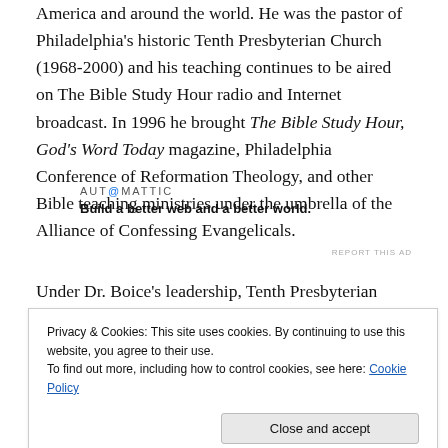America and around the world. He was the pastor of Philadelphia's historic Tenth Presbyterian Church (1968-2000) and his teaching continues to be aired on The Bible Study Hour radio and Internet broadcast. In 1996 he brought The Bible Study Hour, God's Word Today magazine, Philadelphia Conference of Reformation Theology, and other Bible teaching ministries under the umbrella of the Alliance of Confessing Evangelicals.
[Figure (other): Automattic advertisement: 'AUT@MATTIC — Build a better web and a better world.']
REPORT THIS AD
Under Dr. Boice's leadership, Tenth Presbyterian Church
Privacy & Cookies: This site uses cookies. By continuing to use this website, you agree to their use. To find out more, including how to control cookies, see here: Cookie Policy
more than 1,200 persons, a total membership of 1,150 persons.